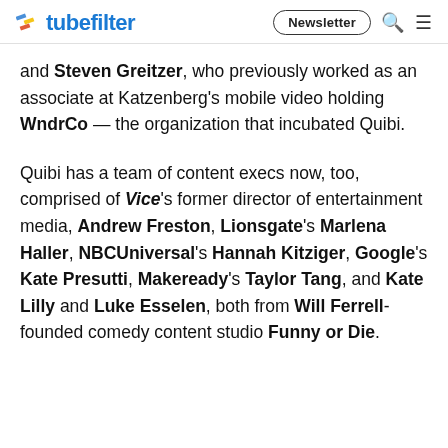tubefilter | Newsletter
and Steven Greitzer, who previously worked as an associate at Katzenberg's mobile video holding WndrCo — the organization that incubated Quibi.
Quibi has a team of content execs now, too, comprised of Vice's former director of entertainment media, Andrew Freston, Lionsgate's Marlena Haller, NBCUniversal's Hannah Kitziger, Google's Kate Presutti, Makeready's Taylor Tang, and Kate Lilly and Luke Esselen, both from Will Ferrell-founded comedy content studio Funny or Die.